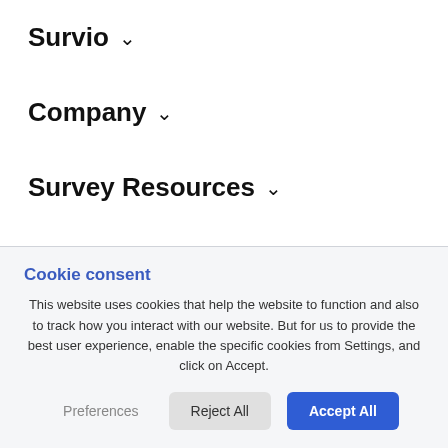Survio ∨
Company ∨
Survey Resources ∨
Survey software ∨
Cookie consent
This website uses cookies that help the website to function and also to track how you interact with our website. But for us to provide the best user experience, enable the specific cookies from Settings, and click on Accept.
Preferences | Reject All | Accept All